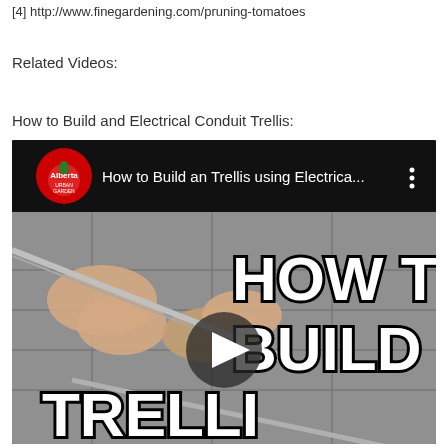[4] http://www.finegardening.com/pruning-tomatoes
Related Videos:
How to Build and Electrical Conduit Trellis:
[Figure (screenshot): YouTube video thumbnail showing 'How to Build an Trellis using Electrica...' by Alberta Urban Garden channel. The thumbnail shows hands working with metal conduit/pipe on a paved surface, with large text reading 'HOW TO BUILD TRELLIS' overlaid. A play button is visible in the center.]